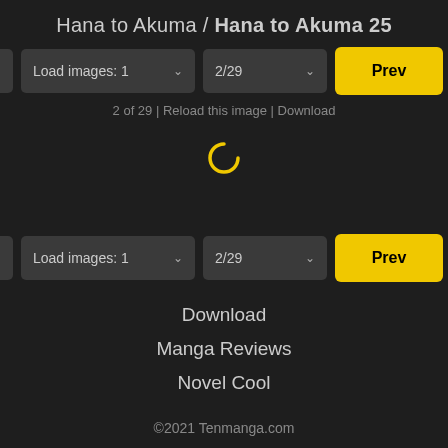Hana to Akuma / Hana to Akuma 25
[Figure (screenshot): Top navigation controls row with Ch 25 dropdown, Load images: 1 dropdown, 2/29 dropdown, Prev button, Next button]
2 of 29 | Reload this image | Download
[Figure (other): Loading spinner icon (yellow letter C shape)]
[Figure (screenshot): Bottom navigation controls row with Ch 25 dropdown, Load images: 1 dropdown, 2/29 dropdown, Prev button, Next button]
Download
Manga Reviews
Novel Cool
©2021 Tenmanga.com